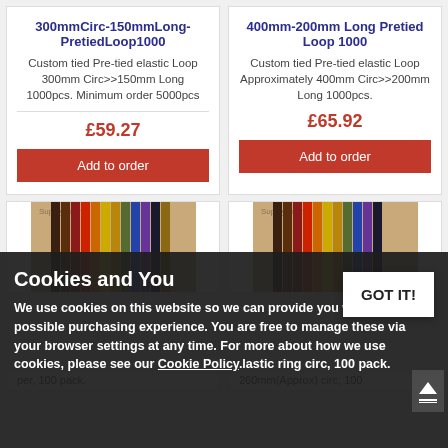300mmCirc-150mmLong-PretiedLoop1000
Custom tied Pre-tied elastic Loop 300mm Circ>>150mm Long 1000pcs. Minimum order 5000pcs
£59.27
Add to order
400mm-200mm Long Pretied Loop 1000
Custom tied Pre-tied elastic Loop Approximately 400mm Circ>>200mm Long 1000pcs.
£65.92
Add to order
[Figure (photo): Photo of elastic bands/loops in various colors arranged in a fan pattern]
[Figure (photo): Photo of elastic bands/loops in various colors arranged in a fan pattern]
per, 100 pack.
260mm(Approx) circ, 100
Cookies and You
We use cookies on this website so we can provide you with the best possible purchasing experience. You are free to manage these via your browser settings at any time. For more about how we use cookies, please see our Cookie Policy.
GOT IT!